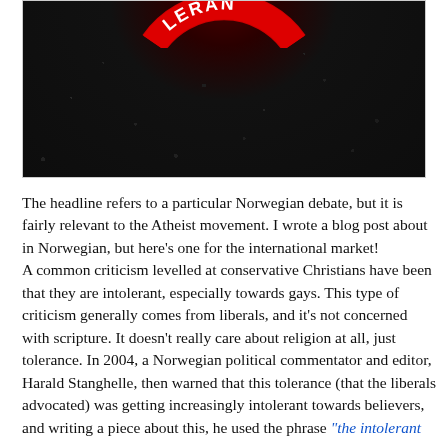[Figure (photo): Close-up photo of black gravel/asphalt surface with a partial circular badge or logo visible at the top showing red and white coloring with partial text 'LERAN' visible]
The headline refers to a particular Norwegian debate, but it is fairly relevant to the Atheist movement. I wrote a blog post about in Norwegian, but here's one for the international market! A common criticism levelled at conservative Christians have been that they are intolerant, especially towards gays. This type of criticism generally comes from liberals, and it's not concerned with scripture. It doesn't really care about religion at all, just tolerance. In 2004, a Norwegian political commentator and editor, Harald Stanghelle, then warned that this tolerance (that the liberals advocated) was getting increasingly intolerant towards believers, and writing a piece about this, he used the phrase "the intolerant